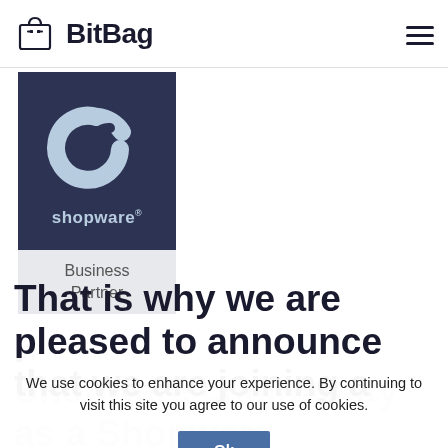BitBag
[Figure (logo): Shopware Business Partner badge. Dark navy background with white Shopware 'C' logo and 'shopware' text, below a light grey section reading 'Business Partner'.]
That is why we are pleased to announce that we are joining a Shopware community as a Shopware Business Partner!
We use cookies to enhance your experience. By continuing to visit this site you agree to our use of cookies.